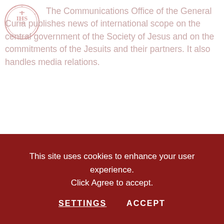[Figure (logo): Circular seal/logo of the Society of Jesus (Jesuits) in faded pink/red color]
The Communications Office of the General Curia publishes news of international scope on the central government of the Society of Jesus and on the commitments of the Jesuits and their partners. It also handles media relations.
This site uses cookies to enhance your user experience. Click Agree to accept.
SETTINGS    ACCEPT